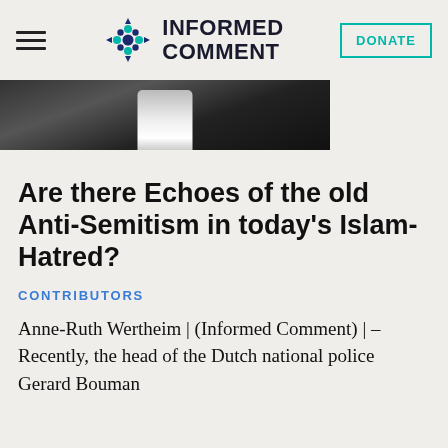INFORMED COMMENT | DONATE
[Figure (photo): Partial photo strip showing a figure against a dark background]
Are there Echoes of the old Anti-Semitism in today's Islam-Hatred?
CONTRIBUTORS
Anne-Ruth Wertheim | (Informed Comment) | – Recently, the head of the Dutch national police Gerard Bouman